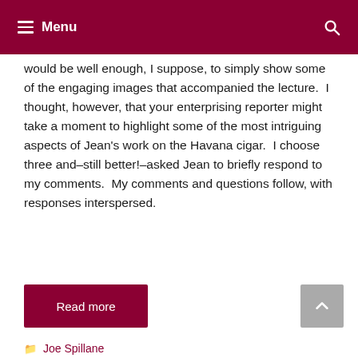Menu
would be well enough, I suppose, to simply show some of the engaging images that accompanied the lecture. I thought, however, that your enterprising reporter might take a moment to highlight some of the most intriguing aspects of Jean's work on the Havana cigar. I choose three and–still better!–asked Jean to briefly respond to my comments. My comments and questions follow, with responses interspersed.
Read more
Joe Spillane